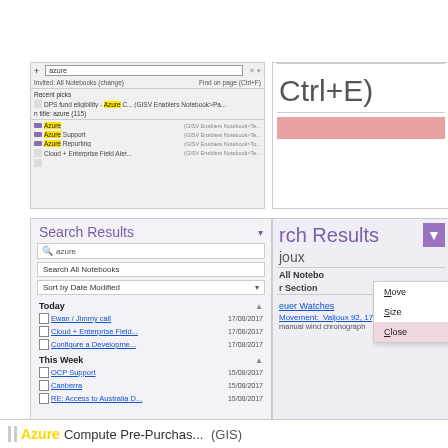[Figure (screenshot): OneNote search dropdown showing search results for 'azure' with recent picks including DPS fund eligibility Azure C... and items titled Azure, Azure Support, Azure Reporting, Cloud + Enterprise Field Aler...]
[Figure (screenshot): Partial screenshot showing 'Ctrl+E)' text and a pink/red highlighted bar below]
[Figure (screenshot): OneNote Search Results panel showing search for 'azure', sorted by Date Modified, with Today section showing: Ewan / Jimmy call 17/08/2017, Cloud + Enterprise Field... 17/08/2017, Configure a Developme... 17/08/2017; and This Week section showing OCP Support 15/08/2017, Canberra 15/08/2017, RE: Access to Australia D... 15/08/2017]
[Figure (screenshot): OneNote Search Results panel right side showing 'rch Results' heading with purple dropdown arrow, context menu with Move, Size, Close options. Below shows search results: 'uer Watches 26/0', 'Movement: Valjoux 92, 17je', 'manual wind chronograph']
[Figure (screenshot): Bottom bar showing: Azure Compute Pre-Purchas... (GIS) with Azure highlighted in yellow]